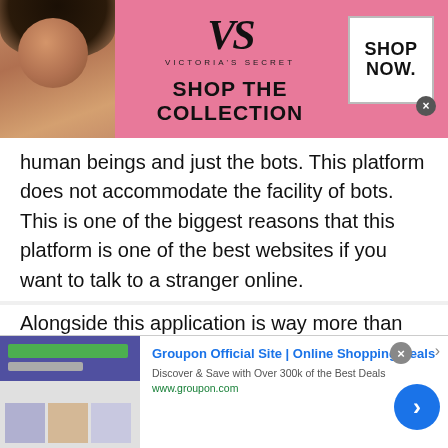[Figure (screenshot): Victoria's Secret advertisement banner with model, logo, 'SHOP THE COLLECTION' text, and 'SHOP NOW' button]
human beings and just the bots. This platform does not accommodate the facility of bots. This is one of the biggest reasons that this platform is one of the best websites if you want to talk to a stranger online.
Alongside this application is way more than just a regular Belarusian chatting site. Those chatting sites are mostly scam and have bots that are talking with another gender. Their main purpose is to take advantage of the other people's needs and wants.
[Figure (screenshot): Groupon Official Site advertisement: 'Groupon Official Site | Online Shopping Deals - Discover & Save with Over 300k of the Best Deals - www.groupon.com' with thumbnail image and arrow button]